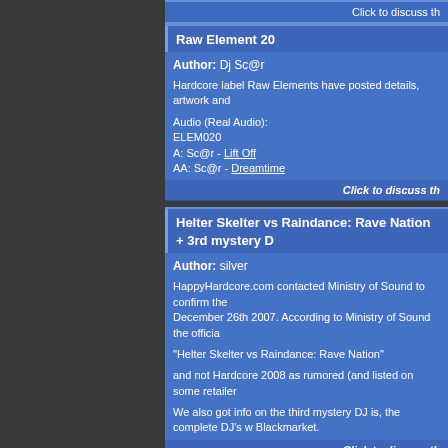Click to discuss th
Raw Element 20
Author: Dj Sc@r
Hardcore label Raw Elements have posted details, artwork and
Audio (Real Audio):
ELEM020
A: Sc@r - Lift Off
AA: Sc@r - Dreamtime
Click to discuss th
Helter Skelter vs Raindance: Rave Nation + 3rd mystery D
Author: silver
HappyHardcore.com contacted Ministry of Sound to confirm the December 26th 2007. According to Ministry of Sound the officia
"Helter Skelter vs Raindance: Rave Nation"
and not Hardcore 2008 as rumored (and listed on some retailer
We also got info on the third mystery DJ is, the complete DJ's w Blackmarket.
Click to discuss th
STOP PRESS: Amato distribution bankrupt!
Author: silver
We had been starting to hear some unofficial rumors about this world's largest hardcore music distributor, Amato distribution is
Amato distributed most of the major selling hardcore labels inc